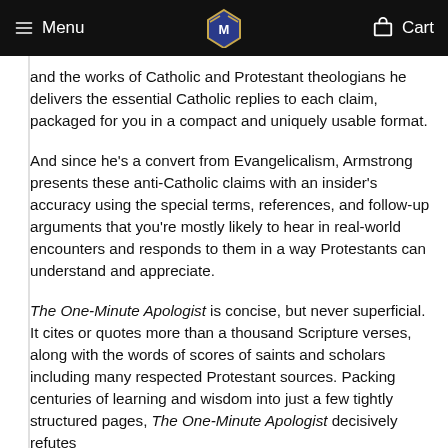Menu  [logo]  Cart
and the works of Catholic and Protestant theologians he delivers the essential Catholic replies to each claim, packaged for you in a compact and uniquely usable format.
And since he's a convert from Evangelicalism, Armstrong presents these anti-Catholic claims with an insider's accuracy using the special terms, references, and follow-up arguments that you're mostly likely to hear in real-world encounters and responds to them in a way Protestants can understand and appreciate.
The One-Minute Apologist is concise, but never superficial. It cites or quotes more than a thousand Scripture verses, along with the words of scores of saints and scholars including many respected Protestant sources. Packing centuries of learning and wisdom into just a few tightly structured pages, The One-Minute Apologist decisively refutes